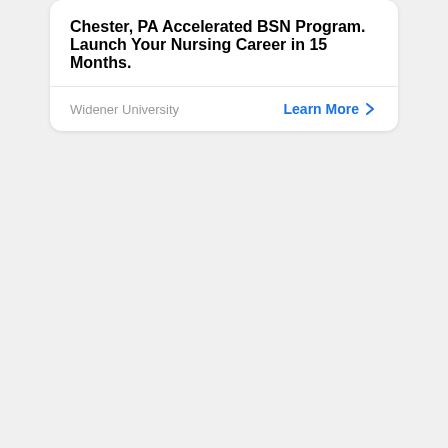Chester, PA Accelerated BSN Program. Launch Your Nursing Career in 15 Months.
Widener University
Learn More